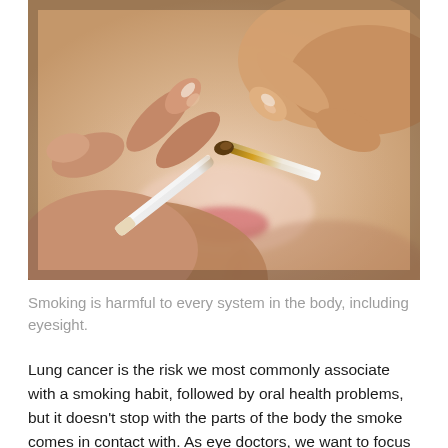[Figure (photo): Close-up photo of two hands breaking a cigarette in half, with lips visible in the background, blurred bokeh effect.]
Smoking is harmful to every system in the body, including eyesight.
Lung cancer is the risk we most commonly associate with a smoking habit, followed by oral health problems, but it doesn't stop with the parts of the body the smoke comes in contact with. As eye doctors, we want to focus